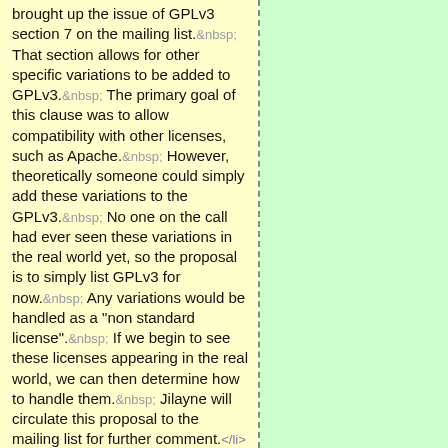brought up the issue of GPLv3 section 7 on the mailing list.  That section allows for other specific variations to be added to GPLv3.  The primary goal of this clause was to allow compatibility with other licenses, such as Apache.  However, theoretically someone could simply add these variations to the GPLv3.  No one on the call had ever seen these variations in the real world yet, so the proposal is to simply list GPLv3 for now.  Any variations would be handled as a "non standard license".  If we begin to see these licenses appearing in the real world, we can then determine how to handle them.  Jilayne will circulate this proposal to the mailing list for further comment.</li></ul> <p>Finalizing the license list</p> <ul><li>Prior to release of SPDX 1.0 Release Candidate (RC), we will need to get all of the licenses from this list into the license